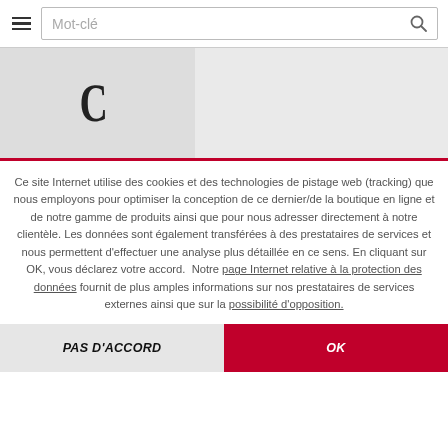[Figure (screenshot): Navigation bar with hamburger menu icon on the left, a search input box with placeholder text 'Mot-clé', and a search icon on the right.]
[Figure (screenshot): Loading spinner shown as a large dark letter C on a light grey background panel, with a lighter grey area to the right.]
Ce site Internet utilise des cookies et des technologies de pistage web (tracking) que nous employons pour optimiser la conception de ce dernier/de la boutique en ligne et de notre gamme de produits ainsi que pour nous adresser directement à notre clientèle. Les données sont également transférées à des prestataires de services et nous permettent d'effectuer une analyse plus détaillée en ce sens. En cliquant sur OK, vous déclarez votre accord. Notre page Internet relative à la protection des données fournit de plus amples informations sur nos prestataires de services externes ainsi que sur la possibilité d'opposition.
PAS D'ACCORD
OK